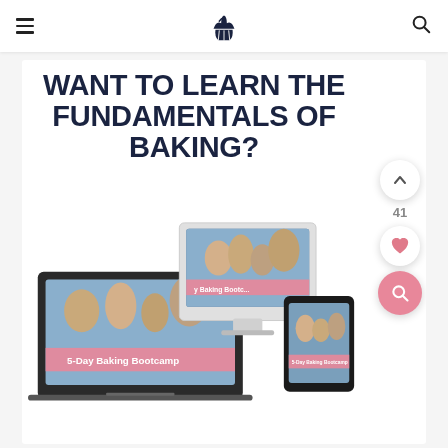[navigation header with hamburger menu, cupcake logo, and search icon]
WANT TO LEARN THE FUNDAMENTALS OF BAKING?
[Figure (photo): Promotional mockup image showing a laptop, desktop iMac, and tablet all displaying a '5-Day Baking Bootcamp' course with a family baking together on screen]
[Figure (other): Side UI controls: up arrow button, count '41', heart/favorite button, and pink search button]